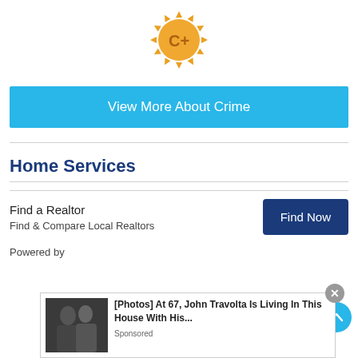[Figure (illustration): A gold/orange sun-shaped badge with 'C+' text in the center, representing a crime grade rating.]
View More About Crime
Home Services
Find a Realtor
Find & Compare Local Realtors
Find Now
Powered by
[Figure (logo): Digibu or similar company logo in bold black text]
[Figure (photo): Advertisement overlay showing John Travolta photo with text: [Photos] At 67, John Travolta Is Living In This House With His... Sponsored]